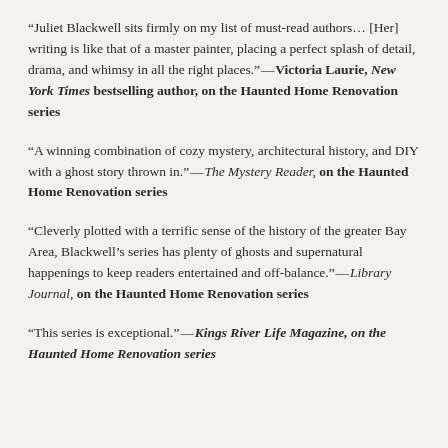“Juliet Blackwell sits firmly on my list of must-read authors… [Her] writing is like that of a master painter, placing a perfect splash of detail, drama, and whimsy in all the right places.”—Victoria Laurie, New York Times bestselling author, on the Haunted Home Renovation series
“A winning combination of cozy mystery, architectural history, and DIY with a ghost story thrown in.”—The Mystery Reader, on the Haunted Home Renovation series
“Cleverly plotted with a terrific sense of the history of the greater Bay Area, Blackwell’s series has plenty of ghosts and supernatural happenings to keep readers entertained and off-balance.”—Library Journal, on the Haunted Home Renovation series
“This series is exceptional.”—Kings River Life Magazine, on the Haunted Home Renovation series